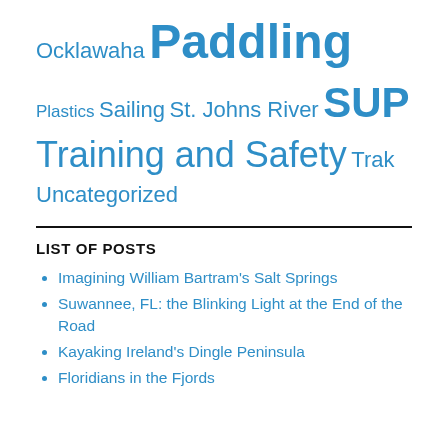Ocklawaha Paddling Plastics Sailing St. Johns River SUP Training and Safety Trak Uncategorized
LIST OF POSTS
Imagining William Bartram's Salt Springs
Suwannee, FL: the Blinking Light at the End of the Road
Kayaking Ireland's Dingle Peninsula
Floridians in the Fjords